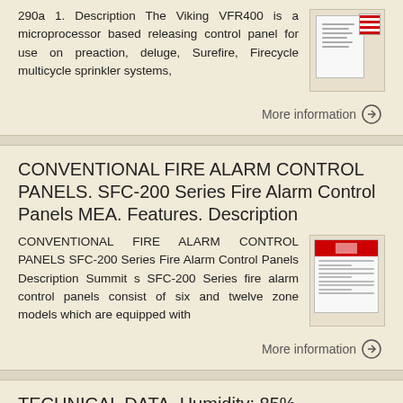290a 1. Description The Viking VFR400 is a microprocessor based releasing control panel for use on preaction, deluge, Surefire, Firecycle multicycle sprinkler systems,
More information →
CONVENTIONAL FIRE ALARM CONTROL PANELS. SFC-200 Series Fire Alarm Control Panels MEA. Features. Description
CONVENTIONAL FIRE ALARM CONTROL PANELS SFC-200 Series Fire Alarm Control Panels Description Summit s SFC-200 Series fire alarm control panels consist of six and twelve zone models which are equipped with
More information →
TECHNICAL DATA. Humidity: 85% Relative Humidity (non-condensing) at 90 F (32 C)